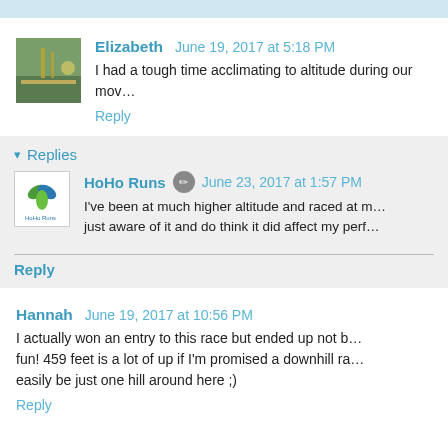Elizabeth June 19, 2017 at 5:18 PM
I had a tough time acclimating to altitude during our mov…
Reply
Replies
HoHo Runs June 23, 2017 at 1:57 PM
I've been at much higher altitude and raced at m… just aware of it and do think it did affect my perf…
Reply
Hannah June 19, 2017 at 10:56 PM
I actually won an entry to this race but ended up not b… fun! 459 feet is a lot of up if I'm promised a downhill ra… easily be just one hill around here ;)
Reply